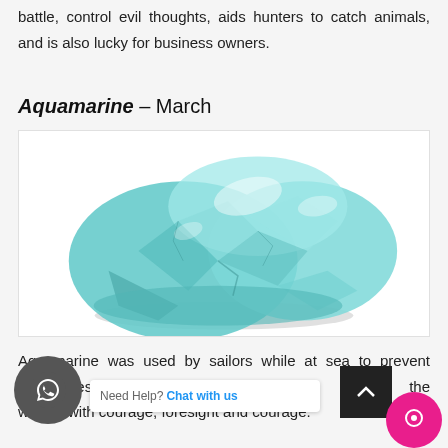battle, control evil thoughts, aids hunters to catch animals, and is also lucky for business owners.
Aquamarine – March
[Figure (photo): A rough aquamarine gemstone with translucent light blue-green color on a white background]
Aquamarine was used by sailors while at sea to prevent seasickness and keep them safe. It ... the wearer with courage, foresight and courage.